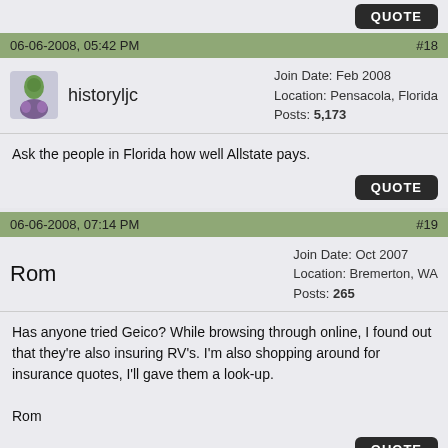QUOTE
06-06-2008, 05:42 PM   #18
historyljc
Join Date: Feb 2008
Location: Pensacola, Florida
Posts: 5,173
Ask the people in Florida how well Allstate pays.
QUOTE
06-06-2008, 07:14 PM   #19
Rom
Join Date: Oct 2007
Location: Bremerton, WA
Posts: 265
Has anyone tried Geico? While browsing through online, I found out that they're also insuring RV's. I'm also shopping around for insurance quotes, I'll gave them a look-up.

Rom
QUOTE